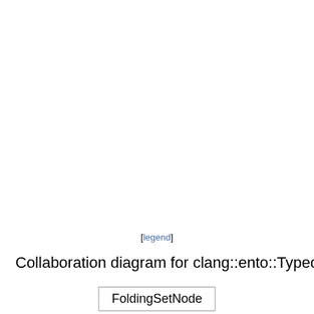[legend]
Collaboration diagram for clang::ento::TypedRegion:
[Figure (other): Partial collaboration diagram for clang::ento::TypedRegion showing a FoldingSetNode box at the bottom]